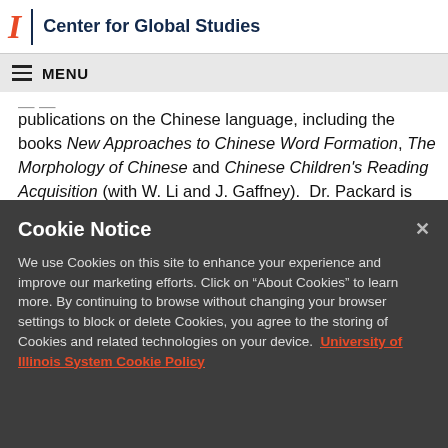I | Center for Global Studies
≡ MENU
publications on the Chinese language, including the books New Approaches to Chinese Word Formation, The Morphology of Chinese and Chinese Children's Reading Acquisition (with W. Li and J. Gaffney).  Dr. Packard is also a contributor to Huang, C. and Shi, D. (Eds.). The Cambridge Grammar of the Chinese Language,and Wang, W. S-Y. and Sun,
Cookie Notice
We use Cookies on this site to enhance your experience and improve our marketing efforts. Click on “About Cookies” to learn more. By continuing to browse without changing your browser settings to block or delete Cookies, you agree to the storing of Cookies and related technologies on your device.  University of Illinois System Cookie Policy